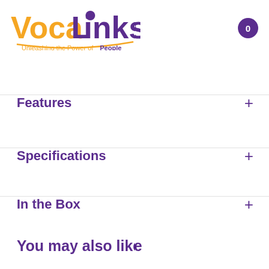[Figure (logo): VocaLinks logo with tagline 'Unleashing the Power of People']
Features +
Specifications +
In the Box +
You may also like